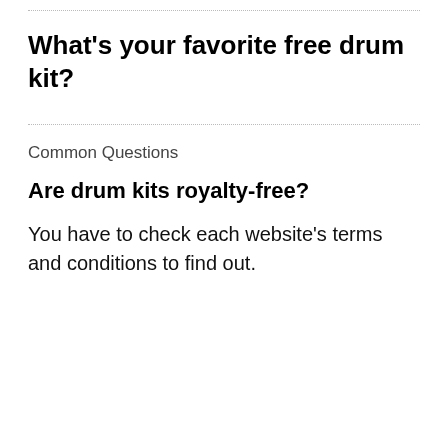What’s your favorite free drum kit?
Common Questions
Are drum kits royalty-free?
You have to check each website’s terms and conditions to find out.